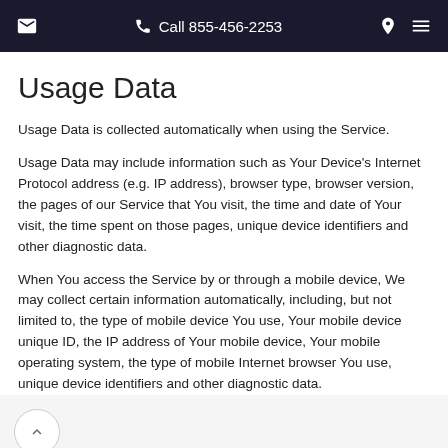Call 855-456-2253
Usage Data
Usage Data is collected automatically when using the Service.
Usage Data may include information such as Your Device's Internet Protocol address (e.g. IP address), browser type, browser version, the pages of our Service that You visit, the time and date of Your visit, the time spent on those pages, unique device identifiers and other diagnostic data.
When You access the Service by or through a mobile device, We may collect certain information automatically, including, but not limited to, the type of mobile device You use, Your mobile device unique ID, the IP address of Your mobile device, Your mobile operating system, the type of mobile Internet browser You use, unique device identifiers and other diagnostic data.